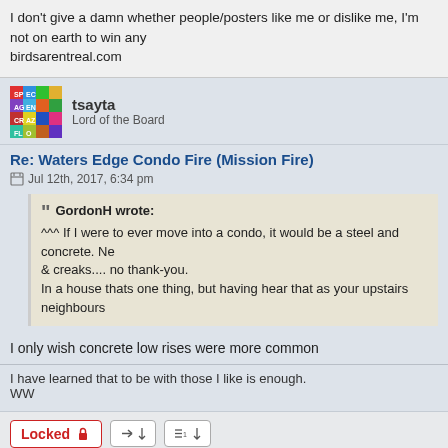I don't give a damn whether people/posters like me or dislike me, I'm not on earth to win any birdsarentreal.com
tsayta
Lord of the Board
Re: Waters Edge Condo Fire (Mission Fire)
Jul 12th, 2017, 6:34 pm
GordonH wrote:
^^^ If I were to ever move into a condo, it would be a steel and concrete. Ne & creaks.... no thank-you.
In a house thats one thing, but having hear that as your upstairs neighbours
I only wish concrete low rises were more common
I have learned that to be with those I like is enough.
WW
Locked
180 posts